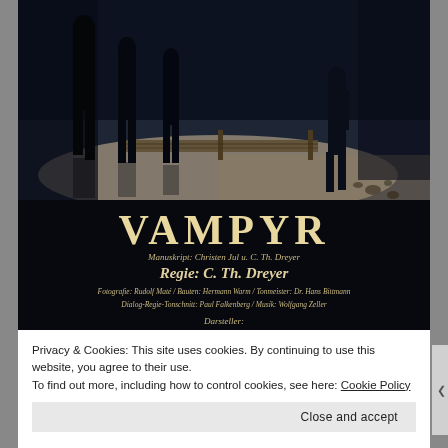[Figure (photo): Vintage black-and-white film poster for VAMPYR (1932 film by C. Th. Dreyer). Top portion shows dark scene with silhouetted figures near a wooden bridge/dock over water. Lower portion of poster has black background with large serif title 'VAMPYR', credits in italic text including Manuskript: Christen Jul u. C. Th. Dreyer, Regie: C. Th. Dreyer, Fotografie: Rudolf Maté / Bauten: Hermann Warm / Tonmeister: Dr. Hans Bittmann, Dialog-Regie-Tonschnitt: Paul Falkenberg / Musik: Wolfgang Zeller, Darsteller:]
Privacy & Cookies: This site uses cookies. By continuing to use this website, you agree to their use.
To find out more, including how to control cookies, see here: Cookie Policy
Close and accept